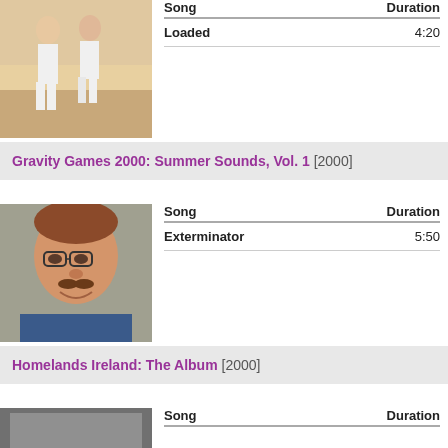[Figure (photo): Two people running on a beach in white clothing]
| Song | Duration |
| --- | --- |
| Loaded | 4:20 |
Gravity Games 2000: Summer Sounds, Vol. 1 [2000]
[Figure (photo): Portrait of an older man with glasses and a mustache smiling]
| Song | Duration |
| --- | --- |
| Exterminator | 5:50 |
Homelands Ireland: The Album [2000]
[Figure (photo): Partially visible album artwork at bottom]
| Song | Duration |
| --- | --- |